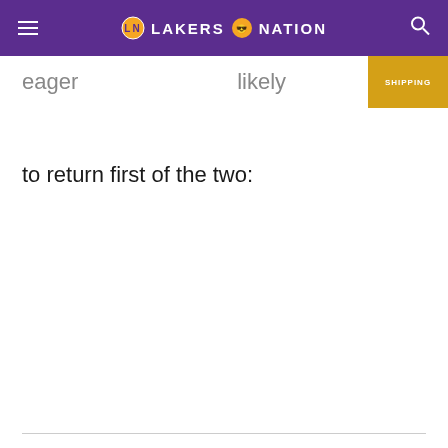LAKERS NATION
eager ... likely to return first of the two: